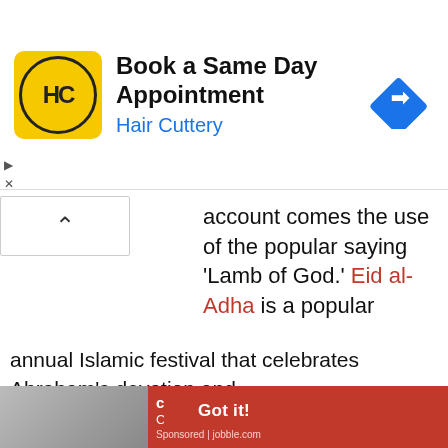[Figure (screenshot): Hair Cuttery advertisement banner with yellow logo, 'Book a Same Day Appointment' headline, 'Hair Cuttery' subtitle in blue, and a blue diamond navigation icon on the right]
account comes the use of the popular saying ‘Lamb of God.’ Eid al-Adha is a popular annual Islamic festival that celebrates Abraham’s devotion and most
It’s is co follo spiri in every aspect of Christianity. The Christian church leader
[Figure (screenshot): Cookie consent overlay with dark background saying 'This website uses cookies to ensure you get the best experience on our website. Learn more' with Got it button, and a job advertisement for 'career tree network Care Jobs in Ash' sponsored by jobble.com]